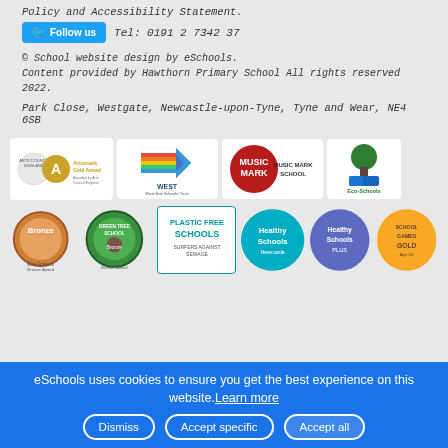Policy and Accessibility Statement.
Follow us   Tel: 0191 2 7342 37
© School website design by eSchools. Content provided by Hawthorn Primary School All rights reserved 2022.
Park Close, Westgate, Newcastle-upon-Tyne, Tyne and Wear, NE4 6SB
[Figure (logo): Row of 4 logos: Arts Council England Artsmark Gold Award, West End Schools Trust (WEST), Music Mark School, Eco-Schools]
[Figure (logo): Row of 6 logos: Eco-Schools Bronze Award, Green Tree School Bronze Award, Plastic Free Schools Surfers Against Sewage, Healthy Schools Newcastle, Healthy Schools Plus, School Games Gold]
eSchools uses cookies to ensure you get the best experience on this website. Learn more
Dismiss   Accept specific   Accept all